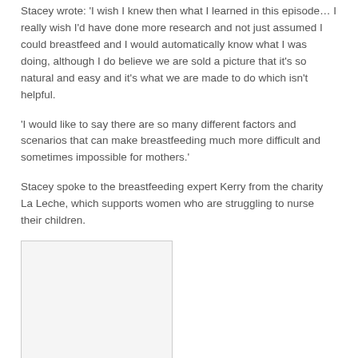Stacey wrote: 'I wish I knew then what I learned in this episode… I really wish I'd have done more research and not just assumed I could breastfeed and I would automatically know what I was doing, although I do believe we are sold a picture that it's so natural and easy and it's what we are made to do which isn't helpful.
'I would like to say there are so many different factors and scenarios that can make breastfeeding much more difficult and sometimes impossible for mothers.'
Stacey spoke to the breastfeeding expert Kerry from the charity La Leche, which supports women who are struggling to nurse their children.
[Figure (photo): A photo with a light border, partially visible, showing content related to the article about breastfeeding.]